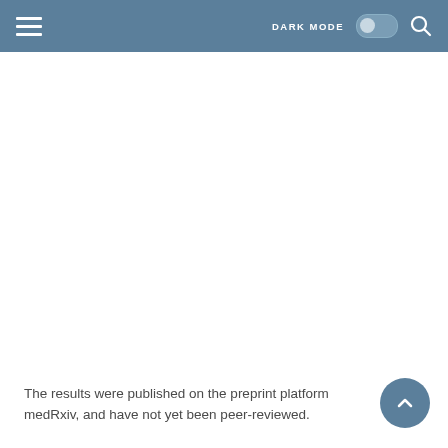DARK MODE [toggle] [search]
The results were published on the preprint platform medRxiv, and have not yet been peer-reviewed.